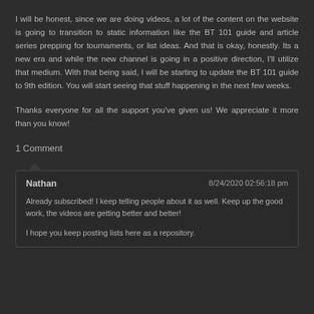I will be honest, since we are doing videos, a lot of the content on the website is going to transition to static information like the BT 101 guide and article series prepping for tournaments, or list ideas. And that is okay, honestly. Its a new era and while the new channel is going in a positive direction, I'll utilize that medium. With that being said, I will be starting to update the BT 101 guide to 9th edition. You will start seeing that stuff happening in the next few weeks.
Thanks everyone for all the support you've given us! We appreciate it more than you know!
1 Comment
Nathan | 8/24/2020 02:56:18 pm

Already subscribed! I keep telling people about it as well. Keep up the good work, the videos are getting better and better!

I hope you keep posting lists here as a repository.